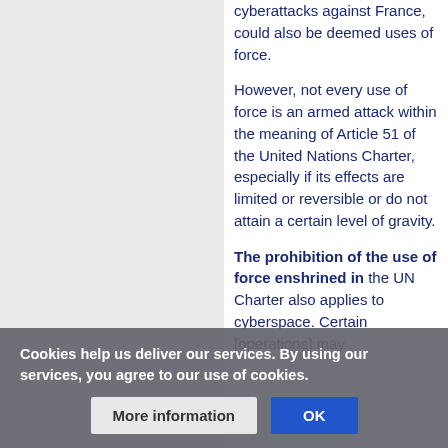cyberattacks against France, could also be deemed uses of force.
However, not every use of force is an armed attack within the meaning of Article 51 of the United Nations Charter, especially if its effects are limited or reversible or do not attain a certain level of gravity.
The prohibition of the use of force enshrined in [the UN Charter] also applies to cyberspace. Certain [operations] may
Cookies help us deliver our services. By using our services, you agree to our use of cookies.